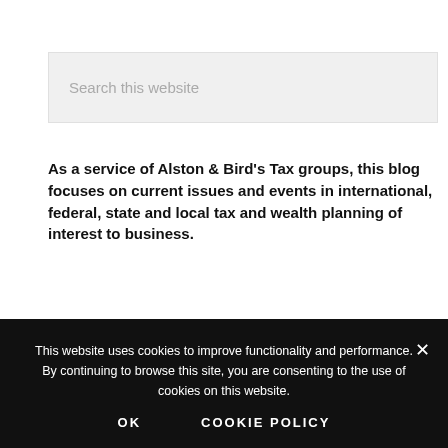Search this website
As a service of Alston & Bird's Tax groups, this blog focuses on current issues and events in international, federal, state and local tax and wealth planning of interest to business.
SUBSCRIBE
This website uses cookies to improve functionality and performance. By continuing to browse this site, you are consenting to the use of cookies on this website.
OK   COOKIE POLICY